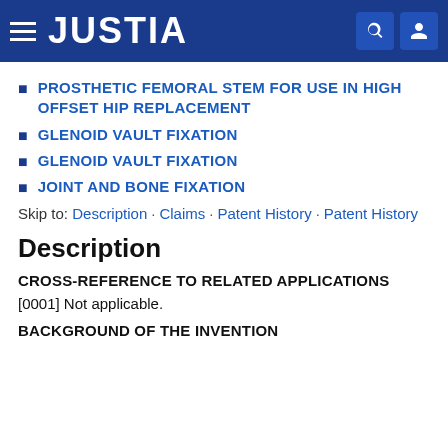JUSTIA
PROSTHETIC FEMORAL STEM FOR USE IN HIGH OFFSET HIP REPLACEMENT
GLENOID VAULT FIXATION
GLENOID VAULT FIXATION
JOINT AND BONE FIXATION
Skip to: Description · Claims · Patent History · Patent History
Description
CROSS-REFERENCE TO RELATED APPLICATIONS
[0001] Not applicable.
BACKGROUND OF THE INVENTION